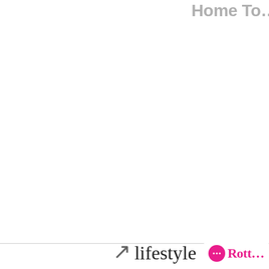Home To...
This entry was po... Bookmark the per...
← Use Underfloor... Luxurious and Co...
Leave a R
You must be...
[Figure (logo): Lifestyle script logo and Rotto badge at bottom of page]